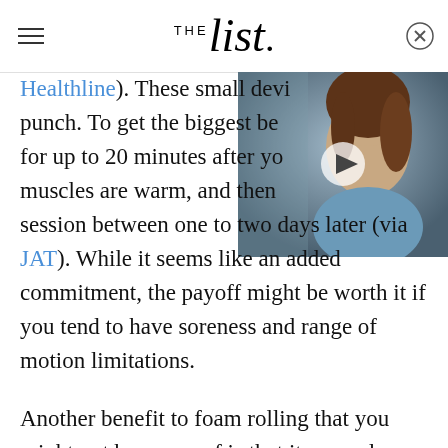THE list.
[Figure (photo): Video thumbnail showing a woman with brown hair smiling, with a play button overlay. Partial view on right side of page.]
Healthline). These small devi punch. To get the biggest be for up to 20 minutes after yo muscles are warm, and then session between one to two days later (via JAT). While it seems like an added commitment, the payoff might be worth it if you tend to have soreness and range of motion limitations.
Another benefit to foam rolling that you might not be aware of is that it can reduce the appearance of cellulite, at least temporarily, because the actions help break up the fascia that stretches across your fat,